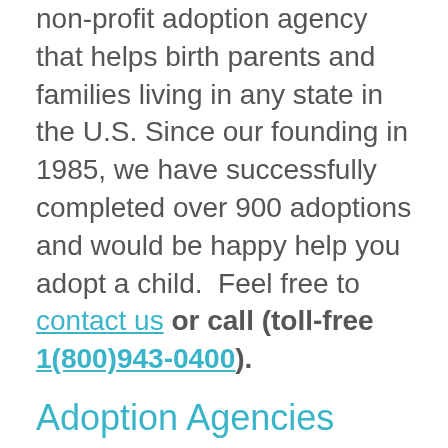non-profit adoption agency that helps birth parents and families living in any state in the U.S. Since our founding in 1985, we have successfully completed over 900 adoptions and would be happy help you adopt a child.  Feel free to contact us or call (toll-free 1(800)943-0400).
Adoption Agencies
Adoption Choices of Oklahoma
201 N. Broadway, Suite 107,
Moore, OK 73160
Phone: (405) 794-7500
Fax: (405) 794-7506